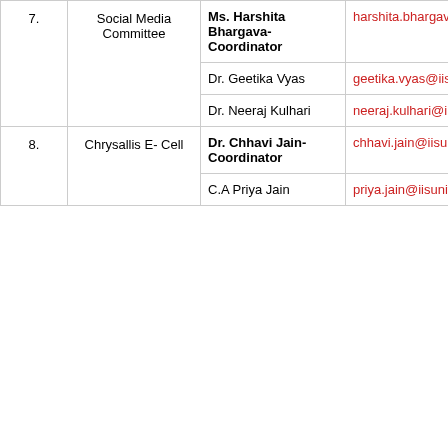| # | Committee | Person | Email |
| --- | --- | --- | --- |
| 7. | Social Media Committee | Ms. Harshita Bhargava- Coordinator | harshita.bhargava@… |
|  |  | Dr. Geetika Vyas | geetika.vyas@iisun… |
|  |  | Dr. Neeraj Kulhari | neeraj.kulhari@iisu… |
| 8. | Chrysallis  E- Cell | Dr. Chhavi Jain- Coordinator | chhavi.jain@iisuniv.… |
|  |  | C.A Priya Jain | priya.jain@iisuniv.a… |